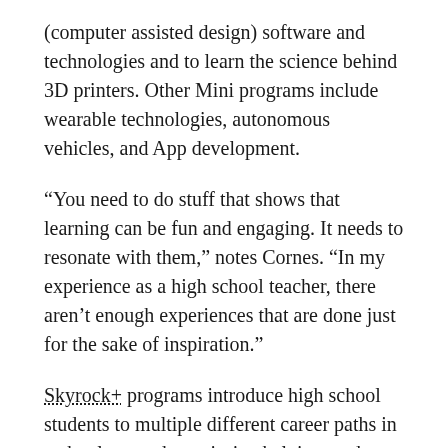(computer assisted design) software and technologies and to learn the science behind 3D printers. Other Mini programs include wearable technologies, autonomous vehicles, and App development.
“You need to do stuff that shows that learning can be fun and engaging. It needs to resonate with them,” notes Cornes. “In my experience as a high school teacher, there aren’t enough experiences that are done just for the sake of inspiration.”
Skyrock+ programs introduce high school students to multiple different career paths in technology and creativ-ity, helping students develop their creative portfolio that will help them stand out during the